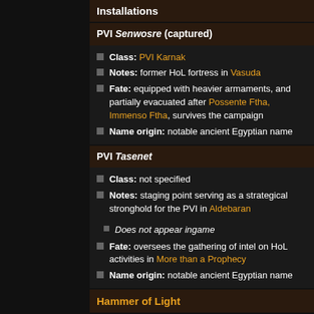Installations
PVI Senwosre (captured)
Class: PVI Karnak
Notes: former HoL fortress in Vasuda
Fate: equipped with heavier armaments, and partially evacuated after Possente Ftha, Immenso Ftha, survives the campaign
Name origin: notable ancient Egyptian name
PVI Tasenet
Class: not specified
Notes: staging point serving as a strategical stronghold for the PVI in Aldebaran
Does not appear ingame
Fate: oversees the gathering of intel on HoL activities in More than a Prophecy
Name origin: notable ancient Egyptian name
Hammer of Light